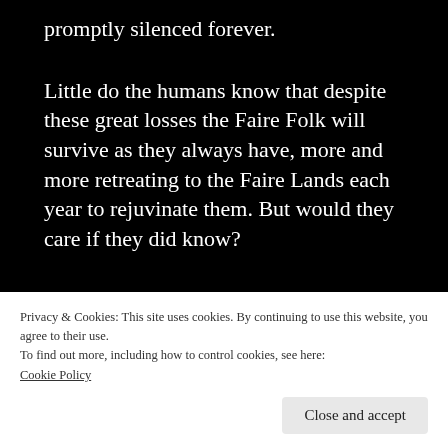promptly silenced forever.
Little do the humans know that despite these great losses the Faire Folk will survive as they always have, more and more retreating to the Faire Lands each year to rejuvinate them. But would they care if they did know?
One of the keys to keeping the magic of the Faire Folk alive is the Spheres. These artifacts created long ago are sources of great power and
Privacy & Cookies: This site uses cookies. By continuing to use this website, you agree to their use.
To find out more, including how to control cookies, see here:
Cookie Policy
Close and accept